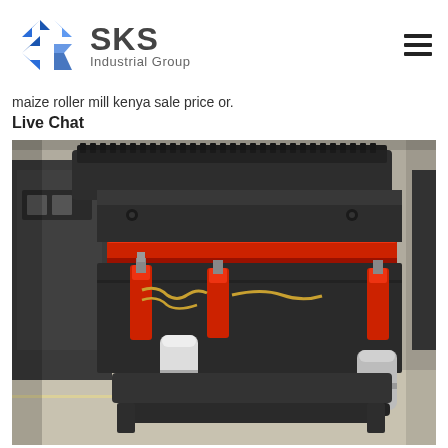[Figure (logo): SKS Industrial Group logo with blue angular S-shaped icon and dark grey text]
maize roller mill kenya sale price or.
Live Chat
[Figure (photo): Close-up photo of a large industrial cone crusher machine with dark grey body, red accent ring, red hydraulic cylinders, and chrome/silver accumulators in a factory setting]